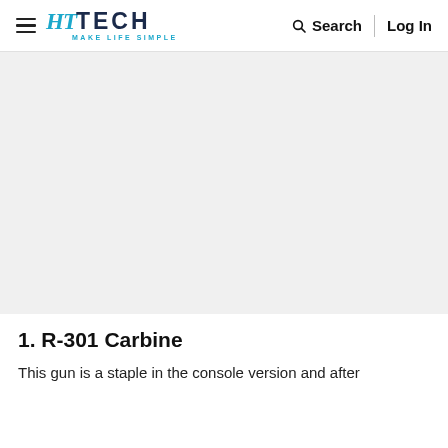HT TECH — MAKE LIFE SIMPLE | Search | Log In
[Figure (other): Large gray advertisement/image placeholder area]
1. R-301 Carbine
This gun is a staple in the console version and after